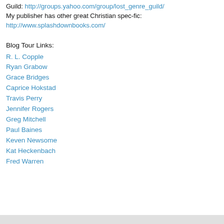Guild: http://groups.yahoo.com/group/lost_genre_guild/
My publisher has other great Christian spec-fic: http://www.splashdownbooks.com/
Blog Tour Links:
R. L. Copple
Ryan Grabow
Grace Bridges
Caprice Hokstad
Travis Perry
Jennifer Rogers
Greg Mitchell
Paul Baines
Keven Newsome
Kat Heckenbach
Fred Warren